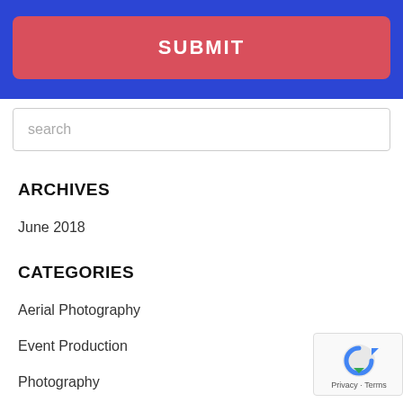[Figure (screenshot): Blue bar with red SUBMIT button]
search
ARCHIVES
June 2018
CATEGORIES
Aerial Photography
Event Production
Photography